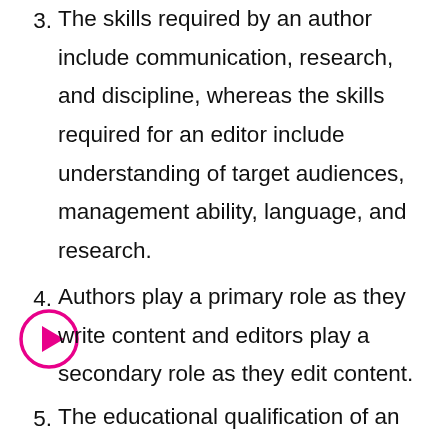3. The skills required by an author include communication, research, and discipline, whereas the skills required for an editor include understanding of target audiences, management ability, language, and research.
4. Authors play a primary role as they write content and editors play a secondary role as they edit content.
5. The educational qualification of an